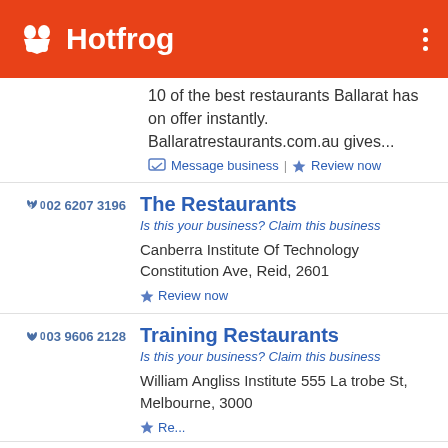Hotfrog
10 of the best restaurants Ballarat has on offer instantly. Ballaratrestaurants.com.au gives...
Message business | Review now
02 6207 3196
The Restaurants
Is this your business? Claim this business
Canberra Institute Of Technology Constitution Ave, Reid, 2601
Review now
03 9606 2128
Training Restaurants
Is this your business? Claim this business
William Angliss Institute 555 La trobe St, Melbourne, 3000